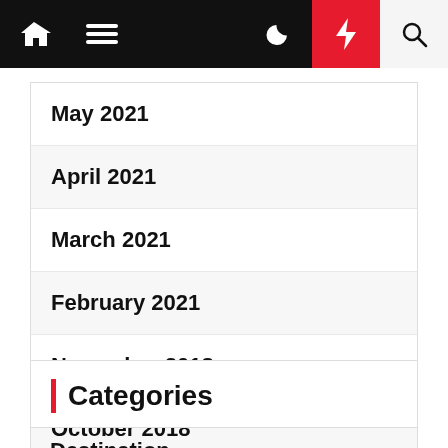Navigation bar with home, menu, moon, bolt, and search icons
May 2021
April 2021
March 2021
February 2021
November 2018
October 2018
December 2016
Categories
Destination